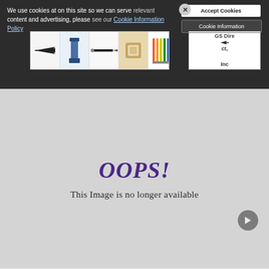We use cookies at on this site so we can serve relevant content and advertising, please see our Cookie Information Policy
[Figure (screenshot): Cookie consent banner with advertisement strip showing office products (paper trimmer, pen, tape, colored pencils) and GS Direct Inc ad]
[Figure (other): OOPS! This Image is no longer available - grey placeholder with purple italic OOPS! text]
PRINCE WILLIAM, DUKE OF CAMBRIDGE AND CATHERINE MIDDLETON, DUCHESS OF CAMBRIDGE; THE ROYAL WEDDING OF PRINCE WILLIAM AND CATHERINE MIDDLETON – THE MALL DEPARTURES LONDON, ENGLAND – 29.04.11. IMAGE: ANTHONY STANLE/WENN